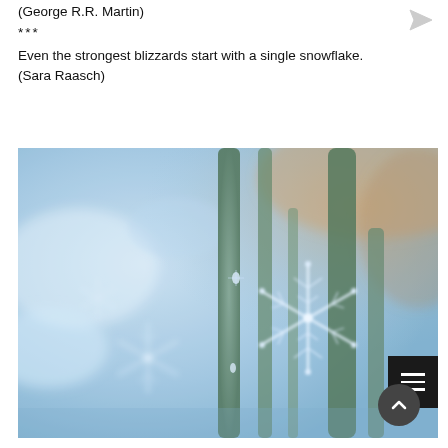(George R.R. Martin)
***
Even the strongest blizzards start with a single snowflake.
(Sara Raasch)
[Figure (photo): Close-up macro photograph of snowflake crystals clinging to a green plant stem, with a soft blurred blue and brown background.]